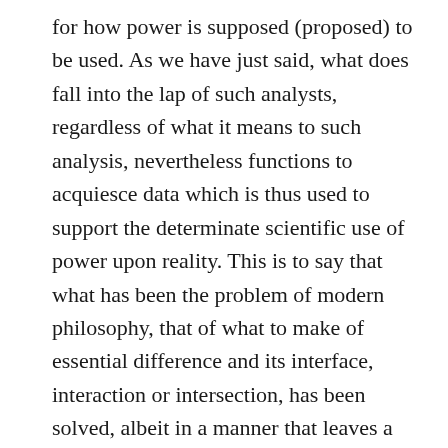for how power is supposed (proposed) to be used. As we have just said, what does fall into the lap of such analysts, regardless of what it means to such analysis, nevertheless functions to acquiesce data which is thus used to support the determinate scientific use of power upon reality. This is to say that what has been the problem of modern philosophy, that of what to make of essential difference and its interface, interaction or intersection, has been solved, albeit in a manner that leaves a particular mode of philosophical knowledge playing in the white wash despite its best efforts to paddle out into the monsters of Mavericks. Philosophy (conventional) becomes the means to make sense of what is already occurring, a manner to keep everyone calm and centered upon the practical